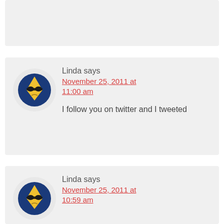[Figure (illustration): Partial top comment block, cropped avatar with dark blue circle and yellow diamond face with sunglasses]
Linda says
November 25, 2011 at 11:00 am
I follow you on twitter and I tweeted
[Figure (illustration): Avatar: dark blue circle with yellow diamond-shaped face wearing sunglasses, frowning expression]
Linda says
November 25, 2011 at 10:59 am